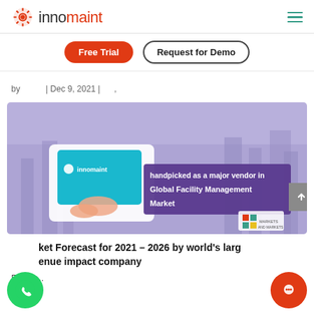[Figure (logo): Innomaint logo with gear icon and hamburger menu]
[Figure (other): Free Trial and Request for Demo buttons]
by | Dec 9, 2021 | ,
[Figure (illustration): Innomaint handpicked as a major vendor in Global Facility Management Market banner image with hands holding tablet and purple background]
ket Forecast for 2021 – 2026 by world's larg enue impact company
Facility...